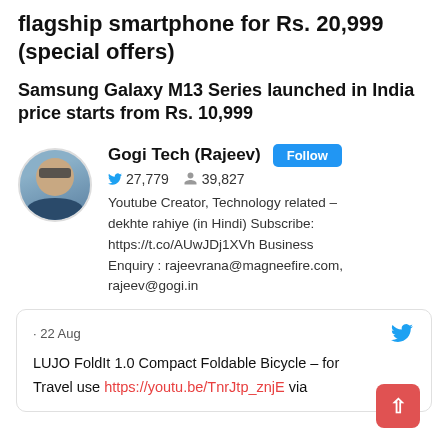flagship smartphone for Rs. 20,999 (special offers)
Samsung Galaxy M13 Series launched in India price starts from Rs. 10,999
Gogi Tech (Rajeev)   Follow
27,779   39,827
Youtube Creator, Technology related – dekhte rahiye (in Hindi) Subscribe: https://t.co/AUwJDj1XVh Business Enquiry : rajeevrana@magneefire.com, rajeev@gogi.in
· 22 Aug
LUJO FoldIt 1.0 Compact Foldable Bicycle – for Travel use https://youtu.be/TnrJtp_znjE via